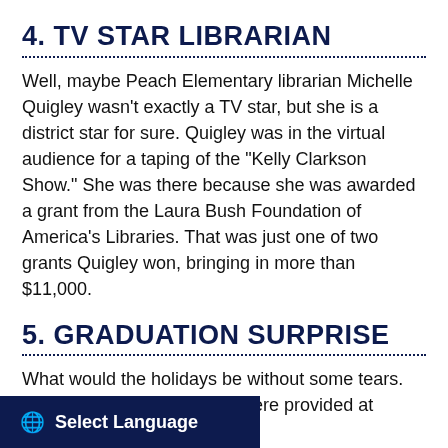4. TV STAR LIBRARIAN
Well, maybe Peach Elementary librarian Michelle Quigley wasn’t exactly a TV star, but she is a district star for sure. Quigley was in the virtual audience for a taping of the “Kelly Clarkson Show.” She was there because she was awarded a grant from the Laura Bush Foundation of America’s Libraries. That was just one of two grants Quigley won, bringing in more than $11,000.
5. GRADUATION SURPRISE
What would the holidays be without some tears. For the A list to... those were provided at ... luation when Allie
Select Language